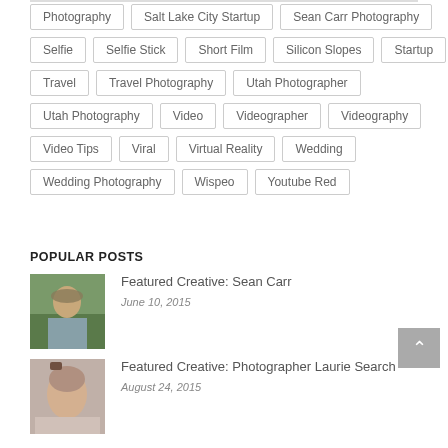Photography
Salt Lake City Startup
Sean Carr Photography
Selfie
Selfie Stick
Short Film
Silicon Slopes
Startup
Travel
Travel Photography
Utah Photographer
Utah Photography
Video
Videographer
Videography
Video Tips
Viral
Virtual Reality
Wedding
Wedding Photography
Wispeo
Youtube Red
POPULAR POSTS
Featured Creative: Sean Carr
June 10, 2015
Featured Creative: Photographer Laurie Search
August 24, 2015